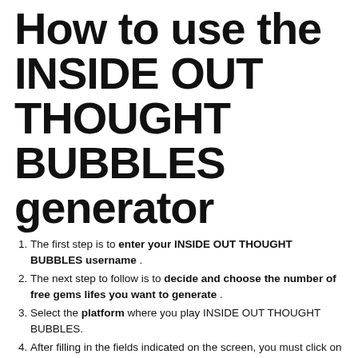How to use the INSIDE OUT THOUGHT BUBBLES generator
The first step is to enter your INSIDE OUT THOUGHT BUBBLES username .
The next step to follow is to decide and choose the number of free gems lifes you want to generate .
Select the platform where you play INSIDE OUT THOUGHT BUBBLES.
After filling in the fields indicated on the screen, you must click on the yellow button that says Generate! And the process of generating gems lifes through the website will begin. The tool will connect to the official server of INSIDE OUT THOUGHT BUBBLES through API, it will look for your username entered in its database. There it will be verified that the data is correct and the gems lifes that you have selected will be generated for free. At